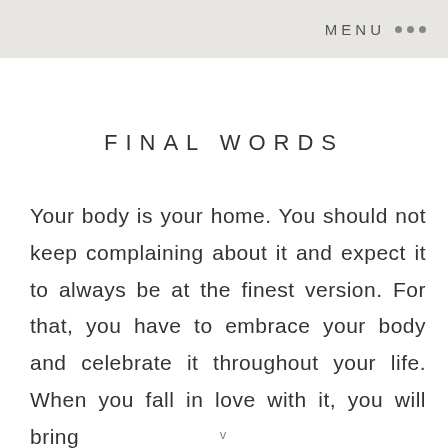MENU •••
FINAL WORDS
Your body is your home. You should not keep complaining about it and expect it to always be at the finest version. For that, you have to embrace your body and celebrate it throughout your life. When you fall in love with it, you will bring
v